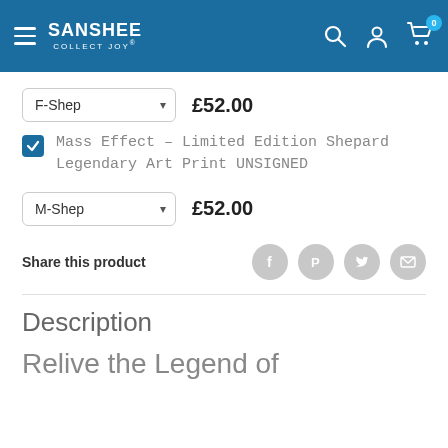SANSHEE COLLECT JOY
F-Shep  £52.00
Mass Effect - Limited Edition Shepard Legendary Art Print UNSIGNED
M-Shep  £52.00
Share this product
Description
Relive the Legend of